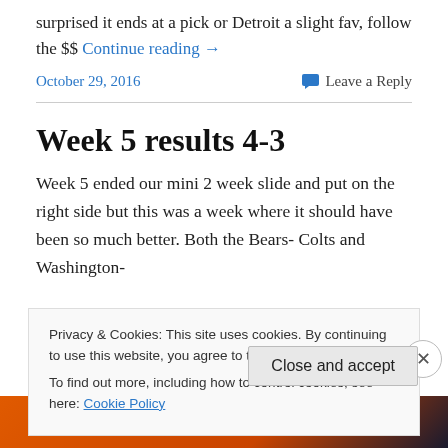surprised it ends at a pick or Detroit a slight fav, follow the $$ Continue reading →
October 29, 2016
Leave a Reply
Week 5 results 4-3
Week 5 ended our mini 2 week slide and put on the right side but this was a week where it should have been so much better. Both the Bears- Colts and Washington-
Privacy & Cookies: This site uses cookies. By continuing to use this website, you agree to their use. To find out more, including how to control cookies, see here: Cookie Policy
Close and accept
[Figure (infographic): Ad banner with orange-to-dark gradient background showing text 'email with more privacy.' with a duck logo on the right]